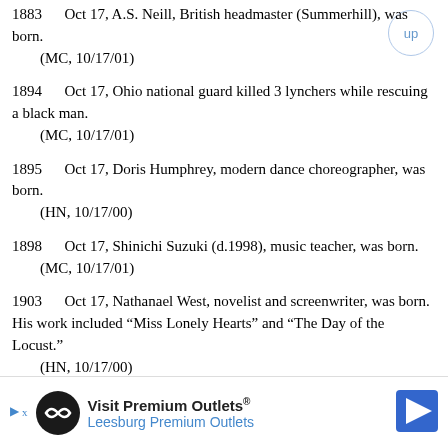1883   Oct 17, A.S. Neill, British headmaster (Summerhill), was born.
    (MC, 10/17/01)
1894   Oct 17, Ohio national guard killed 3 lynchers while rescuing a black man.
    (MC, 10/17/01)
1895   Oct 17, Doris Humphrey, modern dance choreographer, was born.
    (HN, 10/17/00)
1898   Oct 17, Shinichi Suzuki (d.1998), music teacher, was born.
    (MC, 10/17/01)
1903   Oct 17, Nathanael West, novelist and screenwriter, was born. His work included “Miss Lonely Hearts” and “The Day of the Locust.”
    (HN, 10/17/00)
1904   Oct 17, Amadeo Peter Giannini (d.1949) founded the Bank of Italy, the
[Figure (other): Advertisement banner for Visit Premium Outlets / Leesburg Premium Outlets with logo and directional arrow icon]